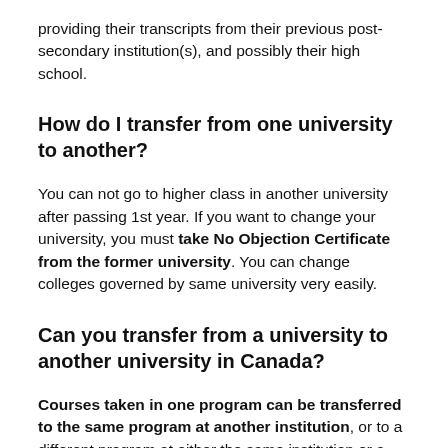providing their transcripts from their previous post-secondary institution(s), and possibly their high school.
How do I transfer from one university to another?
You can not go to higher class in another university after passing 1st year. If you want to change your university, you must take No Objection Certificate from the former university. You can change colleges governed by same university very easily.
Can you transfer from a university to another university in Canada?
Courses taken in one program can be transferred to the same program at another institution, or to a different program at either the same institution or a new one.
Can I change my university after 1st semester?